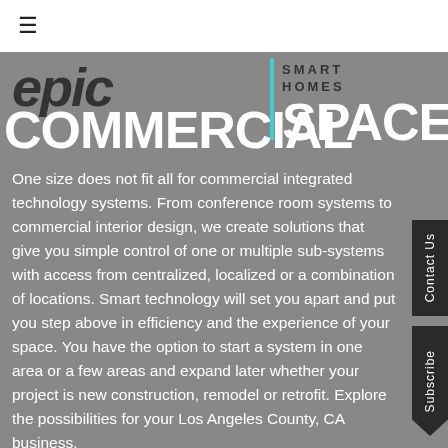≡
[Figure (logo): Epic Smart Homes logo with 'epic' in dark italic overlaid on 'COMMERCIAL SPACES' in white bold, with a teal vertical bar separator and 'SMART HOMES' text in dark letters on grey background]
One size does not fit all for commercial integrated technology systems. From conference room systems to commercial interior design, we create solutions that give you simple control of one or multiple sub-systems with access from centralized, localized or a combination of locations. Smart technology will set you apart and put you step above in efficiency and the experience of your space. You have the option to start a system in one area or a few areas and expand later whether your project is new construction, remodel or retrofit. Explore the possibilities for your Los Angeles County, CA business.